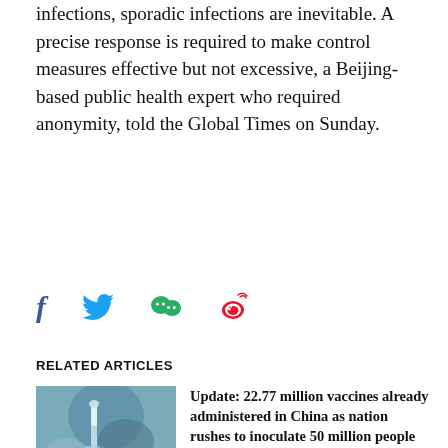infections, sporadic infections are inevitable. A precise response is required to make control measures effective but not excessive, a Beijing-based public health expert who required anonymity, told the Global Times on Sunday.
[Figure (infographic): Social media sharing icons: Facebook (f), Twitter (bird), WeChat, Weibo]
RELATED ARTICLES
[Figure (photo): Photo of a person in blue gloves/mask holding a vaccine vial and syringe]
Update: 22.77 million vaccines already administered in China as nation rushes to inoculate 50 million people before festival